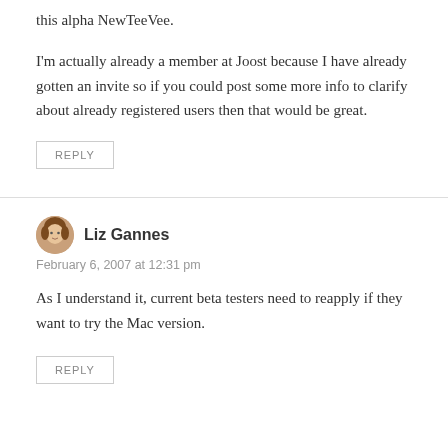this alpha NewTeeVee.
I'm actually already a member at Joost because I have already gotten an invite so if you could post some more info to clarify about already registered users then that would be great.
REPLY
Liz Gannes
February 6, 2007 at 12:31 pm
As I understand it, current beta testers need to reapply if they want to try the Mac version.
REPLY